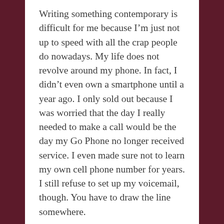Writing something contemporary is difficult for me because I’m just not up to speed with all the crap people do nowadays. My life does not revolve around my phone. In fact, I didn’t even own a smartphone until a year ago. I only sold out because I was worried that the day I really needed to make a call would be the day my Go Phone no longer received service. I even made sure not to learn my own cell phone number for years. I still refuse to set up my voicemail, though. You have to draw the line somewhere.
I don’t do social media because I just don’t care. WordPress is my only online social activity.
Aside from a few modern appurtenances, my life really isn’t that different since the turn of